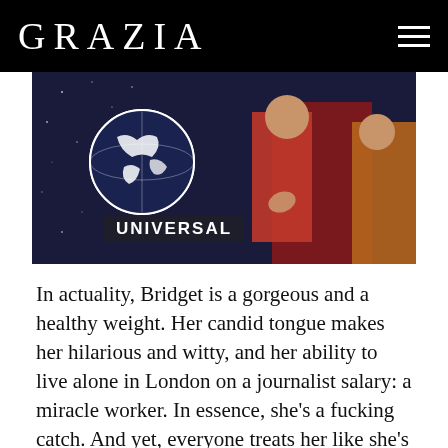GRAZIA
[Figure (photo): Movie still with Universal Pictures logo watermark showing people in festive clothing, with a blue galaxy background behind the Universal globe logo on the left side.]
In actuality, Bridget is a gorgeous and a healthy weight. Her candid tongue makes her hilarious and witty, and her ability to live alone in London on a journalist salary: a miracle worker. In essence, she’s a fucking catch. And yet, everyone treats her like she’s the last lonely woman in London, flailing about unable to ‘keep a man’ because she’s such a chaotic mess. In reality, the flaws that Bridget sees in herself are not actually her flaws, they’re reflections of the uptight